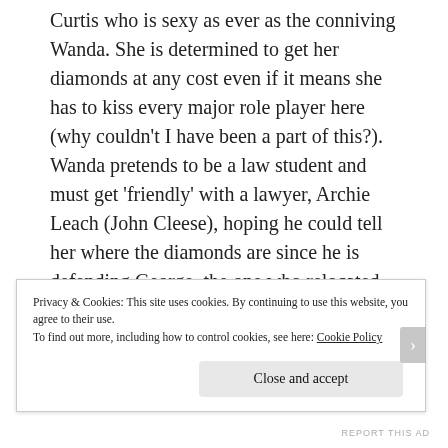Curtis who is sexy as ever as the conniving Wanda. She is determined to get her diamonds at any cost even if it means she has to kiss every major role player here (why couldn't I have been a part of this?). Wanda pretends to be a law student and must get 'friendly' with a lawyer, Archie Leach (John Cleese), hoping he could tell her where the diamonds are since he is defending George, the one who relocated the loot. And then there's the other Monty Python alumni, Michael Palin, as the stuttering K-K-Ken who is an animal lover and
Privacy & Cookies: This site uses cookies. By continuing to use this website, you agree to their use.
To find out more, including how to control cookies, see here: Cookie Policy
Close and accept
REPORT THIS AD